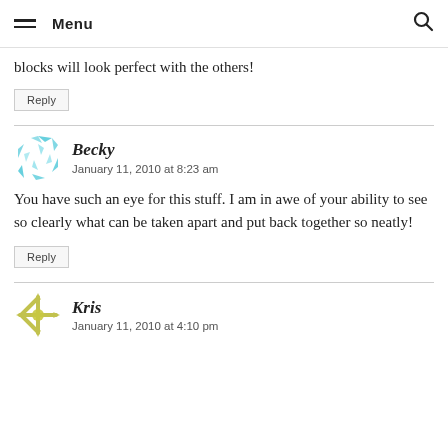Menu
blocks will look perfect with the others!
Reply
Becky
January 11, 2010 at 8:23 am
You have such an eye for this stuff. I am in awe of your ability to see so clearly what can be taken apart and put back together so neatly!
Reply
Kris
January 11, 2010 at 4:10 pm